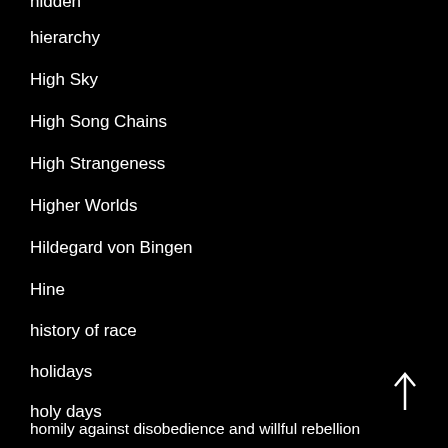hidden
hierarchy
High Sky
High Song Chains
High Strangeness
Higher Worlds
Hildegard von Bingen
Hine
history of race
holidays
holy days
homily against disobedience and willful rebellion